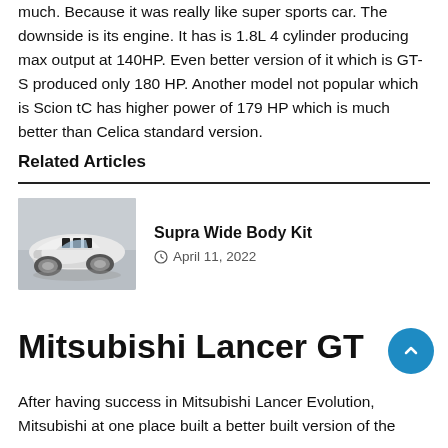much. Because it was really like super sports car. The downside is its engine. It has is 1.8L 4 cylinder producing max output at 140HP. Even better version of it which is GT-S produced only 180 HP. Another model not popular which is Scion tC has higher power of 179 HP which is much better than Celica standard version.
Related Articles
[Figure (photo): White Toyota Supra with wide body kit modifications, front three-quarter view in parking area]
Supra Wide Body Kit
April 11, 2022
Mitsubishi Lancer GT
After having success in Mitsubishi Lancer Evolution, Mitsubishi at one place built a better built version of the